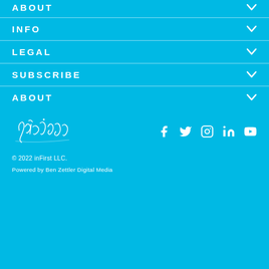ABOUT
INFO
LEGAL
SUBSCRIBE
ABOUT
[Figure (logo): Jain Diglo cursive signature logo in white]
[Figure (infographic): Social media icons: Facebook, Twitter, Instagram, LinkedIn, YouTube]
© 2022 inFirst LLC.
Powered by Ben Zettler Digital Media